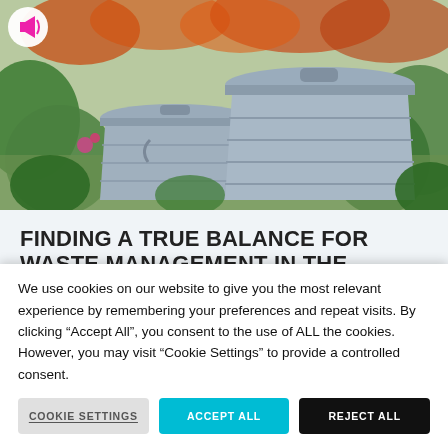[Figure (photo): Two old galvanized metal trash/waste bins with lids sitting in a garden with green plants, flowers, and autumn leaves in the background. A small megaphone icon in a white circle is in the top-left corner.]
FINDING A TRUE BALANCE FOR WASTE MANAGEMENT IN THE TAXONOMY
Several associations representing both public and
We use cookies on our website to give you the most relevant experience by remembering your preferences and repeat visits. By clicking “Accept All”, you consent to the use of ALL the cookies. However, you may visit “Cookie Settings” to provide a controlled consent.
COOKIE SETTINGS
ACCEPT ALL
REJECT ALL